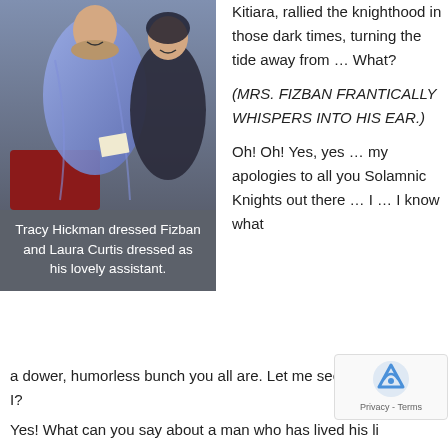[Figure (photo): Two people in costume — one dressed as Fizban in a blue robe, one dressed as his assistant in black. They are seated and smiling at an event.]
Tracy Hickman dressed Fizban and Laura Curtis dressed as his lovely assistant.
Kitiara, rallied the knighthood in those dark times, turning the tide away from … What?
(MRS. FIZBAN FRANTICALLY WHISPERS INTO HIS EAR.)
Oh! Oh! Yes, yes … my apologies to all you Solamnic Knights out there … I … I know what a dower, humorless bunch you all are. Let me see … where was I?
Yes! What can you say about a man who has lived his li…